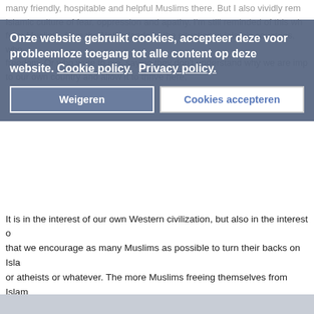many friendly, hospitable and helpful Muslims there. But I also vividly rem Islamic culture of fear, oppression and apathy. I'm still reminded of this wh from Muslims, from the Netherlands or the situation in Islamic countries, who freedom. Or who write to me, saying they don't understand why we are imp to our own country and allow it to thrive here.
Onze website gebruikt cookies, accepteer deze voor probleemloze toegang tot alle content op deze website. Cookie policy. Privacy policy.
Weigeren
Cookies accepteren
It is in the interest of our own Western civilization, but also in the interest o that we encourage as many Muslims as possible to turn their backs on Isla or atheists or whatever. The more Muslims freeing themselves from Islam Muhammad, the better.
“Apostates” are, in fact, people who choose freedom; they deserve encour more Islamic apostates there are, the less misogyny, the less hatred of gay the less oppression, the less terror and violence, and the more freedom th benefit from this. Ex-Muslims as well as ourselves.
Hence, our message should be very clear: Muslims, leave Islam, opt for fre the imams. Free yourself.
Geert Wilders is a member of the Dutch Parliament and leader of the Party
This article was originally posted in the ‘Algemeen Dagblad’, one of the big The Netherlands. Click here to read the article on the website of the ‘Alger